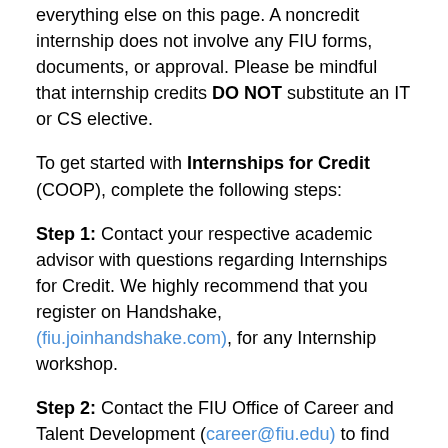everything else on this page. A noncredit internship does not involve any FIU forms, documents, or approval. Please be mindful that internship credits DO NOT substitute an IT or CS elective.
To get started with Internships for Credit (COOP), complete the following steps:
Step 1: Contact your respective academic advisor with questions regarding Internships for Credit. We highly recommend that you register on Handshake, (fiu.joinhandshake.com), for any Internship workshop.
Step 2: Contact the FIU Office of Career and Talent Development (career@fiu.edu) to find out if the company offering your internship is registered with Handshake. The